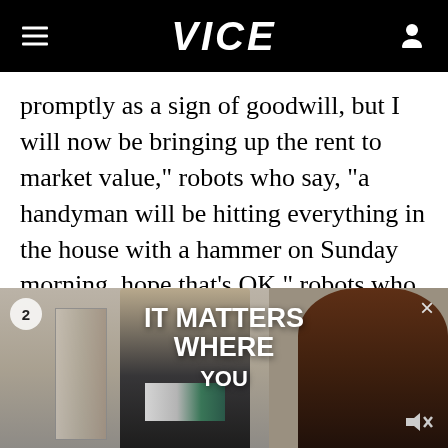VICE
promptly as a sign of goodwill, but I will now be bringing up the rent to market value," robots who say, "a handyman will be hitting everything in the house with a hammer on Sunday morning, hope that's OK," robots who say, "no wonder you've got damp in here, you keep opening the windows! Don't open windows. That's an extra £40 [$60] a month each on the rent." landlords who heave a flatpack shed up
[Figure (screenshot): Video advertisement overlay showing two people, one holding a box, with text overlay reading IT MATTERS WHERE YOU. Badge showing number 2 in bottom left, X close button in top right, mute icon in bottom right.]